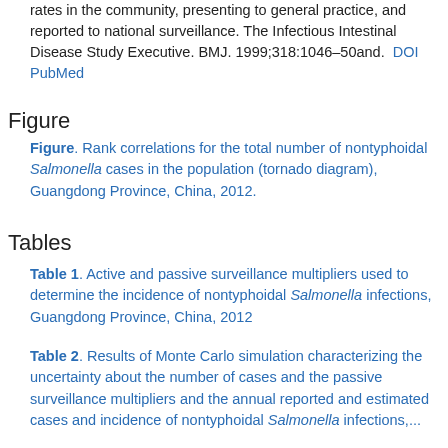rates in the community, presenting to general practice, and reported to national surveillance. The Infectious Intestinal Disease Study Executive. BMJ. 1999;318:1046–50and. DOI   PubMed
Figure
Figure. Rank correlations for the total number of nontyphoidal Salmonella cases in the population (tornado diagram), Guangdong Province, China, 2012.
Tables
Table 1. Active and passive surveillance multipliers used to determine the incidence of nontyphoidal Salmonella infections, Guangdong Province, China, 2012
Table 2. Results of Monte Carlo simulation characterizing the uncertainty about the number of cases and the passive surveillance multipliers and the annual reported and estimated cases and incidence of nontyphoidal Salmonella infections,...